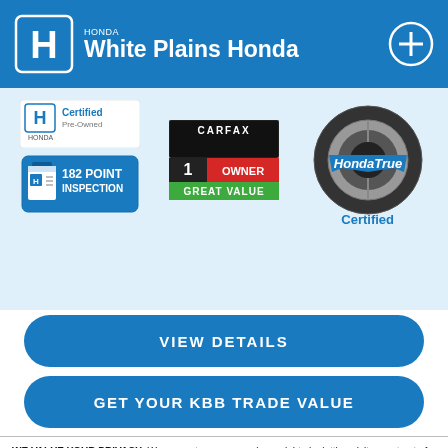White Plains Honda
[Figure (logo): Honda Certified Pre-Owned badge with 182 Point Inspection logo]
[Figure (logo): CARFAX 1 Owner Great Value badge]
[Figure (logo): HondaTrue Certified badge]
VIEW DETAILS
GET YOUR KBB TRADE VALUE
WE VALUE YOUR PRIVACY: We respect consumer privacy rights by letting visitors opt out of third-party tracking cookies and honoring user-enabled global privacy controls, like the GPC signal. This site deploys cookies and similar tracking technologies to build profiles, serve ads, and personalize your experience across websites. By pressing accept, you consent to the use of such cookies. To manage your privacy rights or view the categories of personal information we collect and the purposes for which the information is used, click here.
Language: English
Powered by ComplyAuto
Accept and Continue →
Privacy Policy